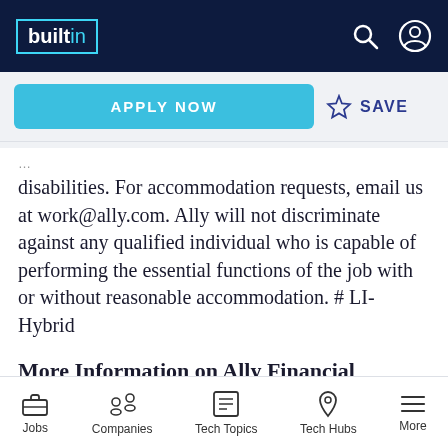builtin — navigation header with search and profile icons
APPLY NOW
SAVE
disabilities. For accommodation requests, email us at work@ally.com. Ally will not discriminate against any qualified individual who is capable of performing the essential functions of the job with or without reasonable accommodation. # LI-Hybrid
More Information on Ally Financial
Jobs | Companies | Tech Topics | Tech Hubs | More